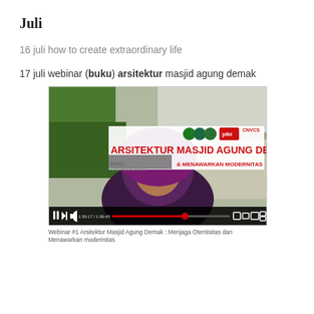Juli
16 juli how to create extraordinary life
17 juli webinar (buku) arsitektur masjid agung demak
[Figure (screenshot): YouTube video screenshot of webinar about Arsitektur Masjid Agung Demak, showing a woman in hijab with text overlay: ARSITEKTUR MASJID AGUNG DEMAK, MENJAGA OTENTISITAS & MENAWARKAN MODERNITAS, with logos and video progress bar]
Webinar #1 Arsitektur Masjid Agung Demak : Menjaga Otentisitas dan Menawarkan moderinitas